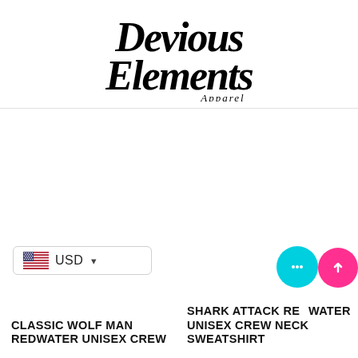[Figure (logo): Devious Elements Apparel logo in black decorative script font]
USD
CLASSIC WOLF MAN REDWATER UNISEX CREW
SHARK ATTACK REDWATER UNISEX CREW NECK SWEATSHIRT